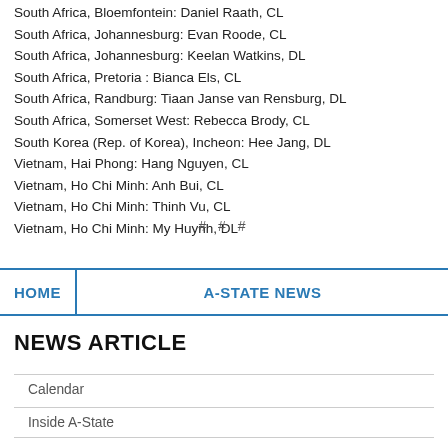South Africa, Bloemfontein: Daniel Raath, CL
South Africa, Johannesburg: Evan Roode, CL
South Africa, Johannesburg: Keelan Watkins, DL
South Africa, Pretoria : Bianca Els, CL
South Africa, Randburg: Tiaan Janse van Rensburg, DL
South Africa, Somerset West: Rebecca Brody, CL
South Korea (Rep. of Korea), Incheon: Hee Jang, DL
Vietnam, Hai Phong: Hang Nguyen, CL
Vietnam, Ho Chi Minh: Anh Bui, CL
Vietnam, Ho Chi Minh: Thinh Vu, CL
Vietnam, Ho Chi Minh: My Huynh, DL
# # #
HOME   A-STATE NEWS
NEWS ARTICLE
Calendar
Inside A-State
ASU-TV
KASU 91.9